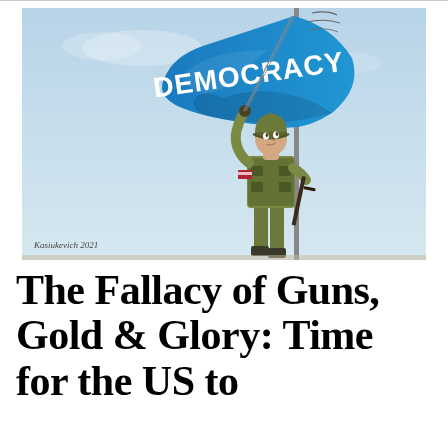[Figure (illustration): Political cartoon showing a US soldier in full combat gear (helmet, body armor, rifle) raising a large blue flag that reads 'DEMOCRACY' in bold white letters. The flag is waving in the wind. The soldier has an American flag patch on their arm. The background is a light blue-grey sky. Signed 'Kasiukevich 2021' in the bottom left corner.]
The Fallacy of Guns, Gold & Glory: Time for the US to